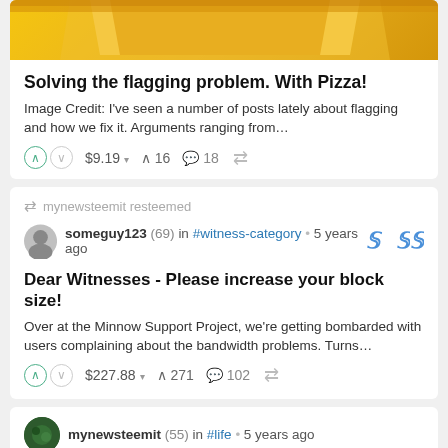[Figure (illustration): Partial pizza illustration at top of card]
Solving the flagging problem. With Pizza!
Image Credit: I've seen a number of posts lately about flagging and how we fix it. Arguments ranging from…
↑ ↓ $9.19 ▾   ↑ 16   💬 18   ⤴
mynewsteemit resteemed
someguy123 (69) in #witness-category • 5 years ago
Dear Witnesses - Please increase your block size!
Over at the Minnow Support Project, we're getting bombarded with users complaining about the bandwidth problems. Turns…
↑ ↓ $227.88 ▾   ↑ 271   💬 102   ⤴
mynewsteemit (55) in #life • 5 years ago
[Figure (screenshot): Bottom preview card with photo and WATER FILTRATION SYSTEM (HALF-CUT VIEW): text]